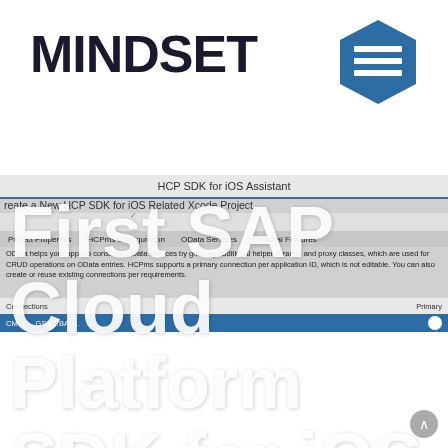[Figure (logo): MINDSET company logo in bold dark text with hexagon icon on the right]
[Figure (screenshot): Screenshot of HCP SDK for iOS Assistant showing Create a New HCP SDK for iOS Related Xcode Project with tabs: Project Properties, HCPms Configuration, OData Services, Optional Features. OData description text and a Connections table with a blue selected row.]
First SAP Cloud Platform SDK for iOS Application using EPM demo service